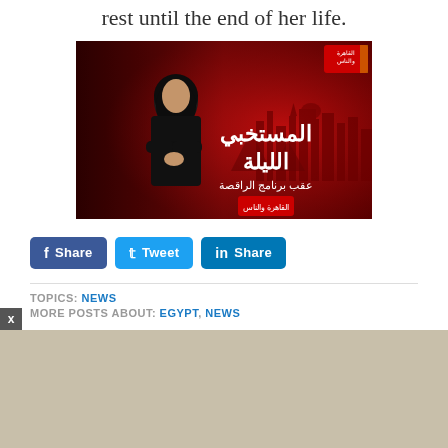rest until the end of her life.
[Figure (photo): A female TV presenter in a black outfit stands in front of a red-themed Arabic TV show backdrop. Arabic text reads 'المستخبي الليلة' (Tonight's Hidden) and 'عقب برنامج الراقصة' (After the Dancer program). A logo appears in the top right and lower center of the image.]
Share  Tweet  Share
TOPICS: NEWS
MORE POSTS ABOUT: EGYPT, NEWS